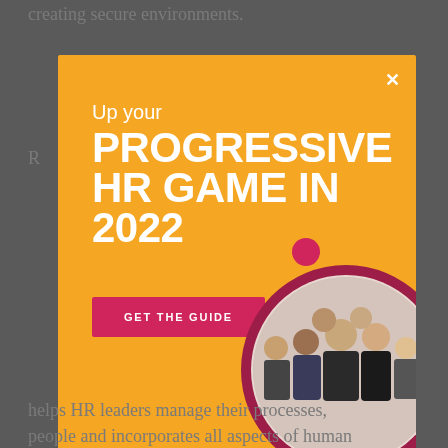creating secure environments.
R
5
1
c
R
helps HR leaders manage their processes,
people and incorporates all aspects of human
[Figure (infographic): Orange modal popup advertisement. Text reads 'Up your PROGRESSIVE HR GAME IN 2022' with a 'GET THE GUIDE' button in pink/red. Right side features a circular photo of a diverse group of business professionals, framed with a dark red/crimson circle border and a small pink dot above. Close (X) button in top right corner.]